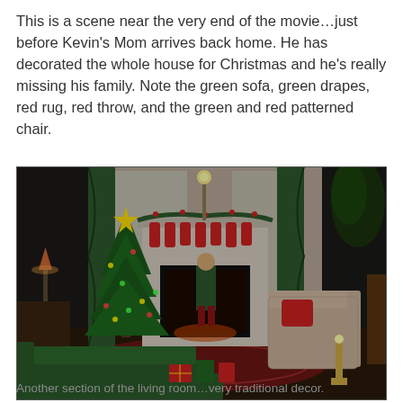This is a scene near the very end of the movie...just before Kevin's Mom arrives back home. He has decorated the whole house for Christmas and he's really missing his family. Note the green sofa, green drapes, red rug, red throw, and the green and red patterned chair.
[Figure (photo): Movie still from Home Alone showing a Christmas-decorated living room with a child in green standing at the fireplace. The room features a lit Christmas tree on the left, green velvet sofa in the foreground, floral armchair with red pillow on the right, green drapes, stockings hung on the mantle, and a red patterned rug.]
Another section of the living room...very traditional decor.